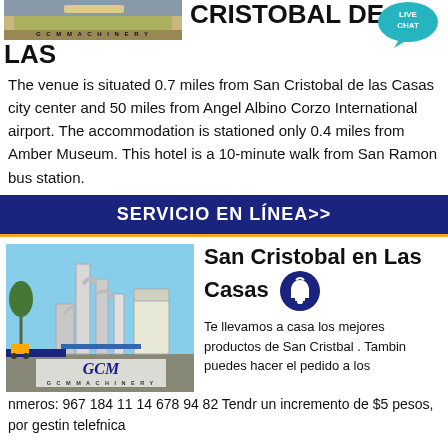[Figure (photo): GCM Machinery equipment photo at top left]
CRISTOBAL DE LAS
The venue is situated 0.7 miles from San Cristobal de las Casas city center and 50 miles from Angel Albino Corzo International airport. The accommodation is stationed only 0.4 miles from Amber Museum. This hotel is a 10-minute walk from San Ramon bus station.
SERVICIO EN LÍNEA>>
[Figure (photo): GCM Machinery industrial plant with pipes and processing equipment, GCM logo in blue cursive with G C M MACHINERY text below]
San Cristobal en Las Casas
Te llevamos a casa los mejores productos de San Cristbal . Tambin puedes hacer el pedido a los nmeros: 967 184 11 14 678 94 82 Tendr un incremento de $5 pesos, por gestin telefnica